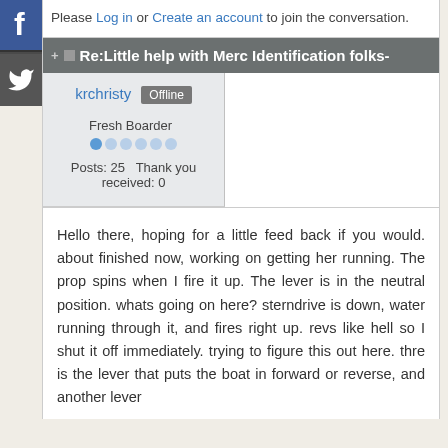Please Log in or Create an account to join the conversation.
Re:Little help with Merc Identification folks-
krchristy  Offline
Fresh Boarder
Posts: 25   Thank you received: 0
Hello there, hoping for a little feed back if you would. about finished now, working on getting her running. The prop spins when I fire it up. The lever is in the neutral position. whats going on here? sterndrive is down, water running through it, and fires right up. revs like hell so I shut it off immediately. trying to figure this out here. thre is the lever that puts the boat in forward or reverse, and another lever